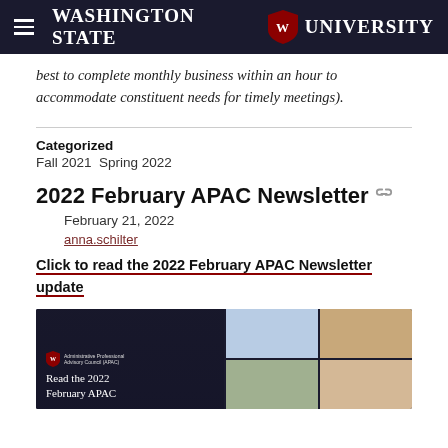Washington State University
best to complete monthly business within an hour to accommodate constituent needs for timely meetings).
Categorized
Fall 2021 Spring 2022
2022 February APAC Newsletter
February 21, 2022
anna.schilter
Click to read the 2022 February APAC Newsletter update
[Figure (photo): Thumbnail image for the 2022 February APAC Newsletter showing WSU shield logo on dark background with text 'Read the 2022 February APAC' on left side, and photo collage of people on right side.]